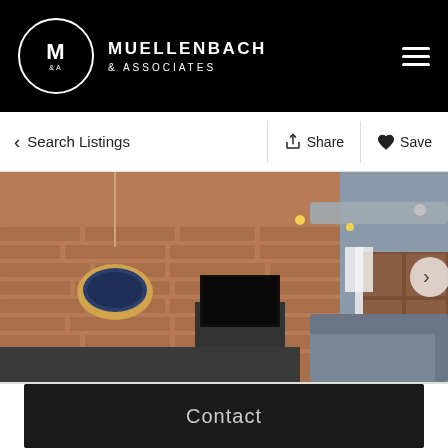MUELLENBACH & ASSOCIATES
< Search Listings
Share
Save
[Figure (photo): Interior loft apartment with exposed brick wall, wooden beam ceiling, hanging swing chair, gray sectional sofa, flat-screen TV, and open kitchen in background]
Contact